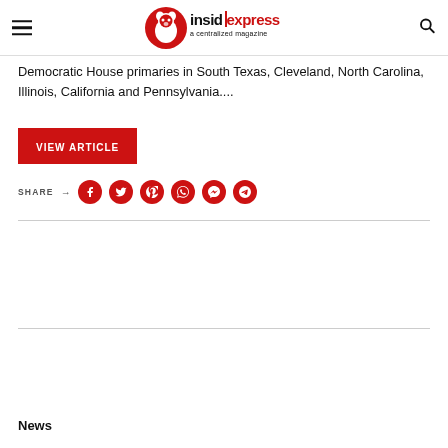InsidExpress – a centralized magazine
Democratic House primaries in South Texas, Cleveland, North Carolina, Illinois, California and Pennsylvania....
VIEW ARTICLE
SHARE → (Facebook, Twitter, Pinterest, WhatsApp, Messenger, Telegram)
News